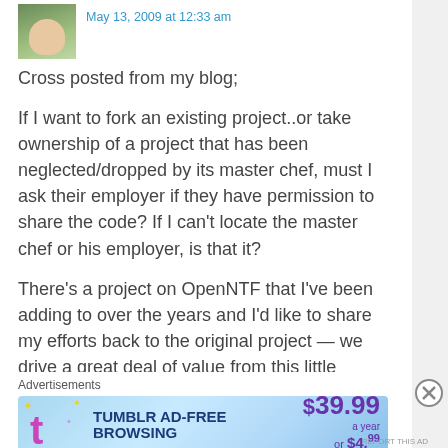May 13, 2009 at 12:33 am
Cross posted from my blog;
If I want to fork an existing project..or take ownership of a project that has been neglected/dropped by its master chef, must I ask their employer if they have permission to share the code? If I can’t locate the master chef or his employer, is that it?
There’s a project on OpenNTF that I’ve been adding to over the years and I’d like to share my efforts back to the original project — we drive a great deal of value from this little framework so it only seems fair to pay it back. The trouble is, the project is without a master chef. He’s moved on, no longer doing Domino development.
Advertisements
[Figure (other): Tumblr Ad-Free Browsing advertisement banner: $39.99 a year or $4.99 a month]